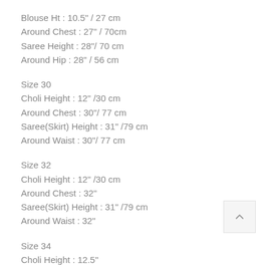Blouse Ht : 10.5" / 27 cm
Around Chest : 27" / 70cm
Saree Height : 28"/ 70 cm
Around Hip : 28" / 56 cm
Size 30
Choli Height : 12" /30 cm
Around Chest : 30"/ 77 cm
Saree(Skirt) Height : 31" /79 cm
Around Waist : 30"/ 77 cm
Size 32
Choli Height : 12" /30 cm
Around Chest : 32"
Saree(Skirt) Height : 31" /79 cm
Around Waist : 32"
Size 34
Choli Height : 12.5"